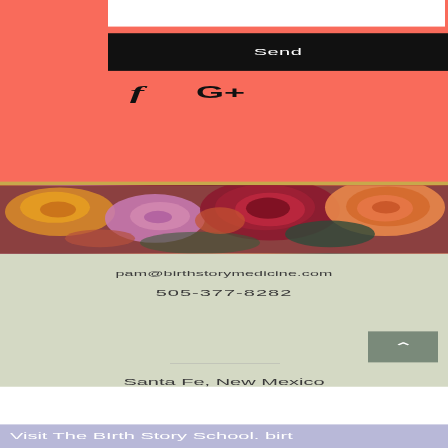Send
[Figure (screenshot): Social media icons: Facebook (f) and Google Plus (G+) on coral background]
[Figure (photo): Photograph of colorful flowers including red, orange, pink, yellow blooms]
pam@birthstorymedicine.com
505-377-8282
Santa Fe, New Mexico
Visit The BIrth Story School. birt